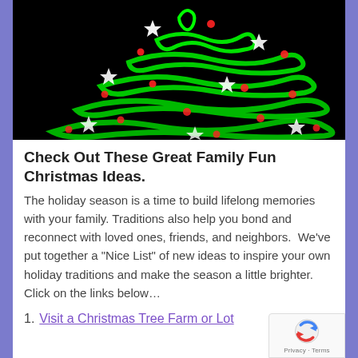[Figure (illustration): Stylized Christmas tree made of swirling green neon light ribbons on a black background, decorated with white star shapes and red dot ornaments]
Check Out These Great Family Fun Christmas Ideas.
The holiday season is a time to build lifelong memories with your family. Traditions also help you bond and reconnect with loved ones, friends, and neighbors.  We've put together a "Nice List" of new ideas to inspire your own holiday traditions and make the season a little brighter.  Click on the links below...
1.  Visit a Christmas Tree Farm or Lot